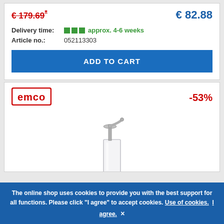€ 179.69* (strikethrough, red)
€ 82.88 (blue, current price)
Delivery time: approx. 4-6 weeks
Article no.: 052113303
ADD TO CART
[Figure (logo): EMCO brand logo in red with rectangular border]
-53% (red discount badge)
[Figure (photo): Chrome soap dispenser with clear glass body and pump top]
The online shop uses cookies to provide you with the best support for all functions. Please click "I agree" to accept cookies. Use of cookies. I agree. ×